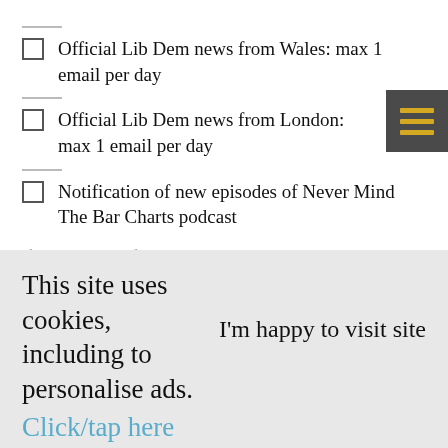Official Lib Dem news from Wales: max 1 email per day
Official Lib Dem news from London: max 1 email per day
Notification of new episodes of Never Mind The Bar Charts podcast
If you submit this form, your data will be used in line with the privacy policy here to update you on the topic(s) selected. This may including using this data to contact you via a variety of digital channels.
This site uses cookies, including to personalise ads. Click/tap here for details.
I'm happy to visit site